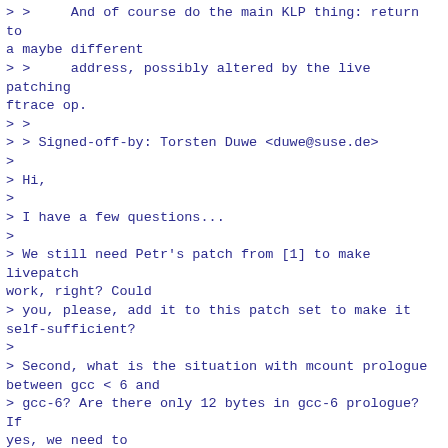> >     And of course do the main KLP thing: return to a maybe different
> >     address, possibly altered by the live patching ftrace op.
> >
> > Signed-off-by: Torsten Duwe <duwe@suse.de>
>
> Hi,
>
> I have a few questions...
>
> We still need Petr's patch from [1] to make livepatch work, right? Could
> you, please, add it to this patch set to make it self-sufficient?
>
> Second, what is the situation with mcount prologue between gcc < 6 and
> gcc-6? Are there only 12 bytes in gcc-6 prologue? If yes, we need to
> change Petr's patch to make it more general and to be able to cope with
> different prologues. This is unfortunate. Either way, please mention it
> somewhere in a changelog.

I am going to update the extra patch. There is an idea to detect the
offset during build by scrips/recordmcount. This tool looks for the